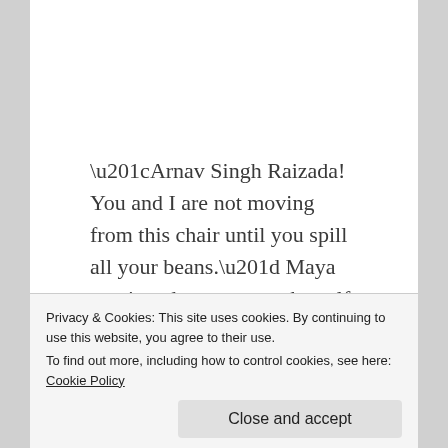“Arnav Singh Raizada! You and I are not moving from this chair until you spill all your beans.” Maya continued to mutter to herself.
It was uncanny, at that moment, she looked exactly like their son, Arnav thought. Or was it the other way around? He wasn’t sure. That frown and that
Privacy & Cookies: This site uses cookies. By continuing to use this website, you agree to their use.
To find out more, including how to control cookies, see here: Cookie Policy
on his explanation. And from the look on her face,